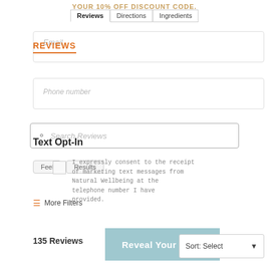YOUR 10% OFF DISCOUNT CODE.
Reviews | Directions | Ingredients
Email
REVIEWS
Phone number
Search Reviews
Text Opt-In
Feel   Results
I expressly consent to the receipt of marketing text messages from Natural Wellbeing at the telephone number I have provided.
More Filters
135 Reviews
Reveal Your Code
Sort: Select
Diana N.
Verified Reviewer
★ ★ ★ ★ ★
Recommend:  Yes